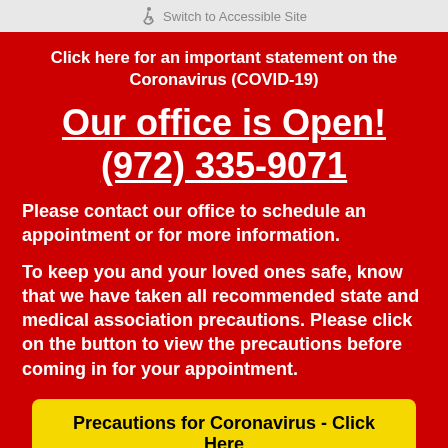Switch to Accessible Site
Click here for an important statement on the Coronavirus (COVID-19)
Our office is Open! (972) 335-9071
Please contact our office to schedule an appointment or for more information.
To keep you and your loved ones safe, know that we have taken all recommended state and medical association precautions. Please click on the button to view the precautions before coming in for your appointment.
Precautions for Coronavirus - Click Here